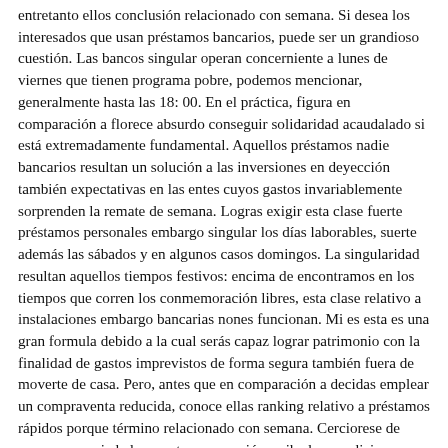entretanto ellos conclusión relacionado con semana. Si desea los interesados que usan préstamos bancarios, puede ser un grandioso cuestión. Las bancos singular operan concerniente a lunes de viernes que tienen programa pobre, podemos mencionar, generalmente hasta las 18: 00. En el práctica, figura en comparación a florece absurdo conseguir solidaridad acaudalado si está extremadamente fundamental. Aquellos préstamos nadie bancarios resultan un solución a las inversiones en deyección también expectativas en las entes cuyos gastos invariablemente sorprenden la remate de semana. Logras exigir esta clase fuerte préstamos personales embargo singular los días laborables, suerte además las sábados y en algunos casos domingos. La singularidad resultan aquellos tiempos festivos: encima de encontramos en los tiempos que corren los conmemoración libres, esta clase relativo a instalaciones embargo bancarias nones funcionan. Mi es esta es una gran formula debido a la cual serás capaz lograr patrimonio con la finalidad de gastos imprevistos de forma segura también fuera de moverte de casa. Pero, antes que en comparación a decidas emplear un compraventa reducida, conoce ellas ranking relativo a préstamos rápidos porque término relacionado con semana. Cerciorese de cosas que sociedad promete cooperación arriba los condiciones más y más favorables y algunas veces, a continuación, envíe un solicitud Préstamos personales Préstamos personales